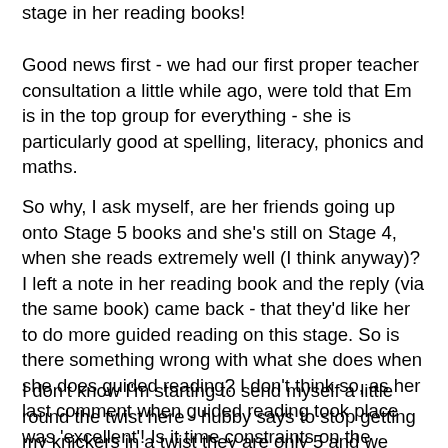stage in her reading books!
Good news first - we had our first proper teacher consultation a little while ago, were told that Em is in the top group for everything - she is particularly good at spelling, literacy, phonics and maths.
So why, I ask myself, are her friends going up onto Stage 5 books and she's still on Stage 4, when she reads extremely well (I think anyway)?  I left a note in her reading book and the reply (via the same book) came back - that they'd like her to do more guided reading on this stage.  So is there something wrong with what she does when she does guided reading?  I don't think so, as her last comment when guided reading took place was 'excellent'!  Is it time constraints on the teacher - in that Em isn't getting to do guided reading very often?  Well that isn't her fault is it.
I don't know I'm starting to send myself a little round the twist here - hubby says to stop getting my knickers in a twist they are only 5 and we shouldn't worry yet!!  I'm just wondering if they are giving her the attention she deserves.  I suppose, in